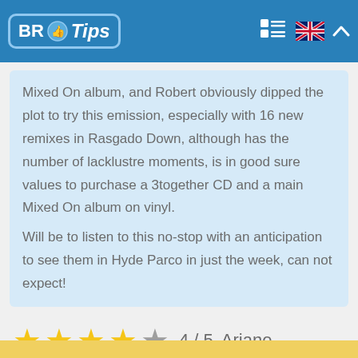BR Tips
Mixed On album, and Robert obviously dipped the plot to try this emission, especially with 16 new remixes in Rasgado Down, although has the number of lacklustre moments, is in good sure values to purchase a 3together CD and a main Mixed On album on vinyl.
Will be to listen to this no-stop with an anticipation to see them in Hyde Parco in just the week, can not expect!
4 / 5   Ariane